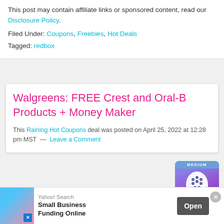This post may contain affiliate links or sponsored content, read our Disclosure Policy.
Filed Under: Coupons, Freebies, Hot Deals
Tagged: redbox
Walgreens: FREE Crest and Oral-B Products + Money Maker
This Raining Hot Coupons deal was posted on April 25, 2022 at 12:28 pm MST — Leave a Comment
[Figure (photo): Oral-B toothbrush product image, medium size, purple packaging]
Yahoo! Search Small Business Funding Online Open